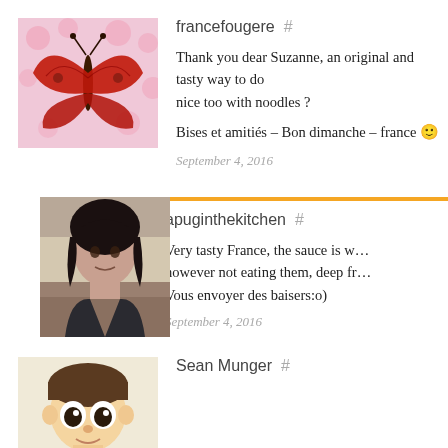francefougere  #
Thank you dear Suzanne, an original and tasty way to do... nice too with noodles ?
Bises et amitiés – Bon dimanche – france 🙂
September 4, 2016
apuginthekitchen  #
Very tasty France, the sauce is w... however not eating them, deep fr... Vous envoyer des baisers:o)
September 4, 2016
Sean Munger  #